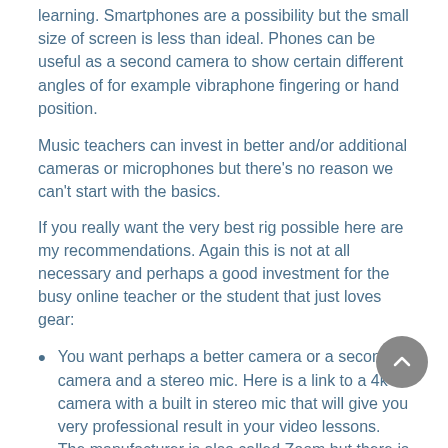learning. Smartphones are a possibility but the small size of screen is less than ideal. Phones can be useful as a second camera to show certain different angles of for example vibraphone fingering or hand position.
Music teachers can invest in better and/or additional cameras or microphones but there's no reason we can't start with the basics.
If you really want the very best rig possible here are my recommendations. Again this is not at all necessary and perhaps a good investment for the busy online teacher or the student that just loves gear:
You want perhaps a better camera or a second camera and a stereo mic. Here is a link to a 4k camera with a built in stereo mic that will give you very professional result in your video lessons. The manufacturer is also called Zoom but there is no connection between the 2 companies.
You also might want a workable tablet and writing surface. I recommend an iPad pro or the regular version